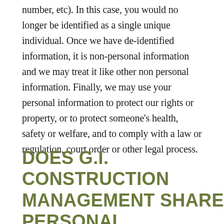number, etc). In this case, you would no longer be identified as a single unique individual. Once we have de-identified information, it is non-personal information and we may treat it like other non personal information. Finally, we may use your personal information to protect our rights or property, or to protect someone's health, safety or welfare, and to comply with a law or regulation, court order or other legal process.
DOES G.I. CONSTRUCTION MANAGEMENT SHARE PERSONAL INFORMATION WITH OTHERS?